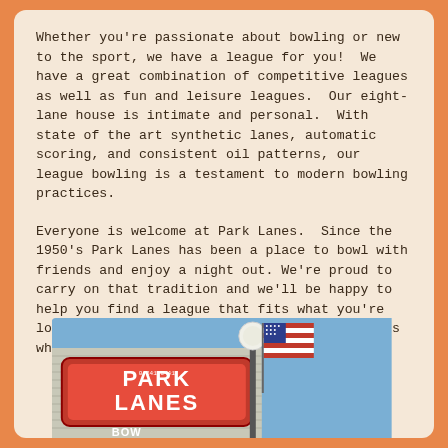Whether you're passionate about bowling or new to the sport, we have a league for you!  We have a great combination of competitive leagues as well as fun and leisure leagues.  Our eight-lane house is intimate and personal.  With state of the art synthetic lanes, automatic scoring, and consistent oil patterns, our league bowling is a testament to modern bowling practices.
Everyone is welcome at Park Lanes.  Since the 1950's Park Lanes has been a place to bowl with friends and enjoy a night out. We're proud to carry on that tradition and we'll be happy to help you find a league that fits what you're looking for and allows you to meet new friends while enjoying old ones.
[Figure (photo): Photo of Park Lanes bowling alley sign with a globe street lamp and American flag against a blue sky]